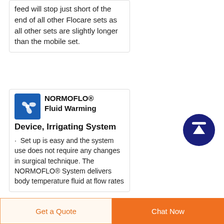feed will stop just short of the end of all other Flocare sets as all other sets are slightly longer than the mobile set.
NORMOFLO® Fluid Warming Device, Irrigating System
· Set up is easy and the system use does not require any changes in surgical technique. The NORMOFLO® System delivers body temperature fluid at flow rates
Get a Quote   Chat Now